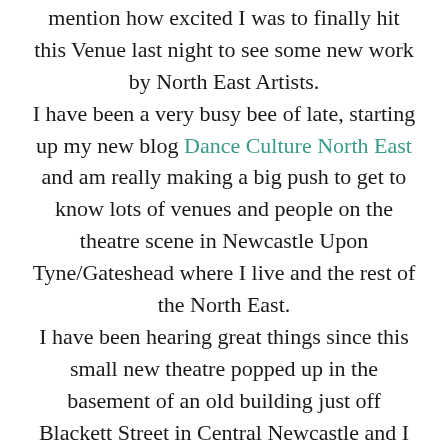mention how excited I was to finally hit this Venue last night to see some new work by North East Artists.
I have been a very busy bee of late, starting up my new blog Dance Culture North East and am really making a big push to get to know lots of venues and people on the theatre scene in Newcastle Upon Tyne/Gateshead where I live and the rest of the North East.
I have been hearing great things since this small new theatre popped up in the basement of an old building just off Blackett Street in Central Newcastle and I thought “oow I must go there”. However through my own busy-ness/laziness I never did manage to make it to the original Alphabetti Theatre Venue, Unfortunately/Fortunately I don’t know which they